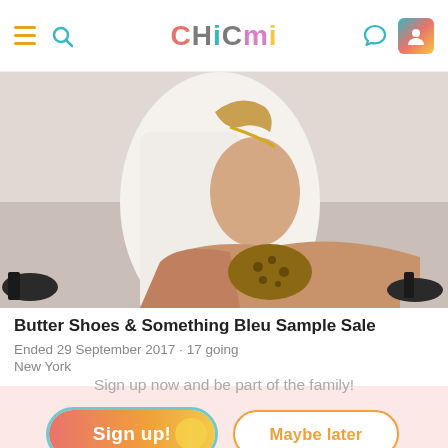CHICMI
[Figure (photo): Fashion photo showing a woman in white clothing posing with shoes and heels around her, shot from behind/side angle]
Butter Shoes & Something Bleu Sample Sale
Ended 29 September 2017 · 17 going
New York
Sign up now and be part of the family!